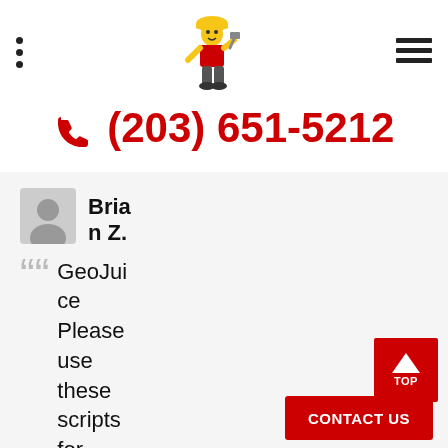Navigation header with dots menu icon, mascot illustration, and hamburger menu icon
(203) 651-5212
Brian Z.
GeoJuice Please use these scripts for GeoJuice posts. This way we are